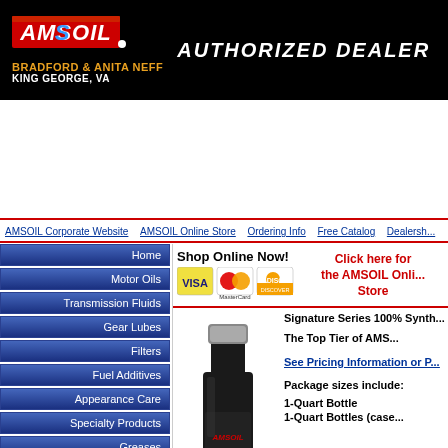[Figure (logo): AMSOIL Authorized Dealer banner with logo, Bradford & Anita Neff, King George VA]
BRADFORD & ANITA NEFF
KING GEORGE, VA
AMSOIL Corporate Website   AMSOIL Online Store   Ordering Info   Free Catalog   Dealersh...
Home
Motor Oils
Transmission Fluids
Gear Lubes
Filters
Fuel Additives
Appearance Care
Specialty Products
Greases
Shop Online Now!
[Figure (other): Visa, MasterCard, Discover credit card logos]
Click here for the AMSOIL Online Store
[Figure (photo): AMSOIL motor oil bottle, black with silver cap]
Signature Series 100% Synth...
The Top Tier of AMS...
See Pricing Information or P...
Package sizes include:
1-Quart Bottle
1-Quart Bottles (case...